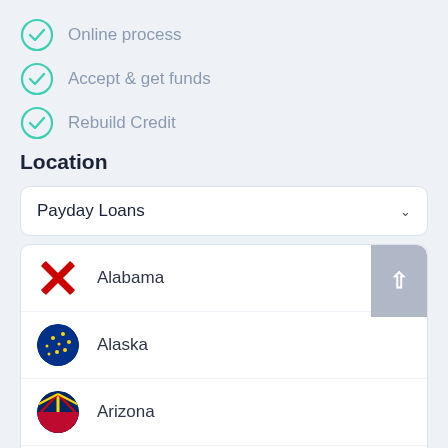Online process
Accept & get funds
Rebuild Credit
Location
Payday Loans
Alabama
Alaska
Arizona
Arkansas